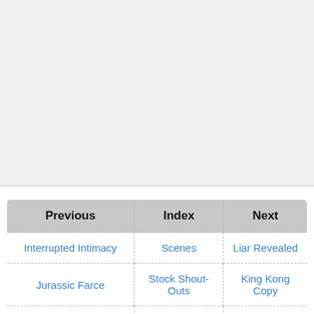| Previous | Index | Next |
| --- | --- | --- |
| Interrupted Intimacy | Scenes | Liar Revealed |
| Jurassic Farce | Stock Shout-Outs | King Kong Copy |
| Kids' Show Mascot Parody | Stock Parodies | King Kong Copy |